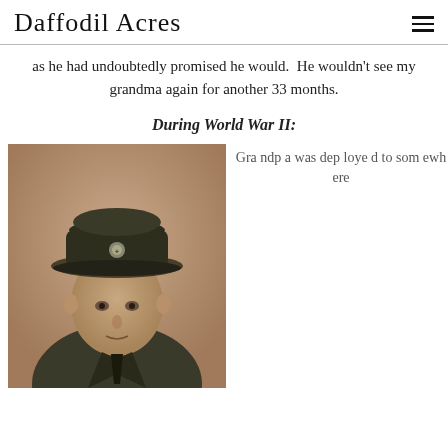Daffodil Acres
as he had undoubtedly promised he would.  He wouldn't see my grandma again for another 33 months.
During World War II:
[Figure (photo): Sepia-toned portrait photograph of a young man in a US military uniform and cap with an eagle emblem on the front.]
Grandpa was deployed to somewhere